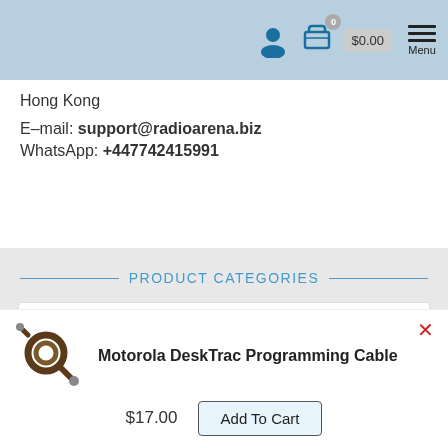Navigation bar with user icon, cart (0 items, $0.00), and Menu
Hong Kong
E-mail: support@radioarena.biz
WhatsApp: +447742415991
PRODUCT CATEGORIES
Motorola
INFORMATION
[Figure (photo): Motorola DeskTrac Programming Cable coiled cable photo]
Motorola DeskTrac Programming Cable
$17.00
Add To Cart